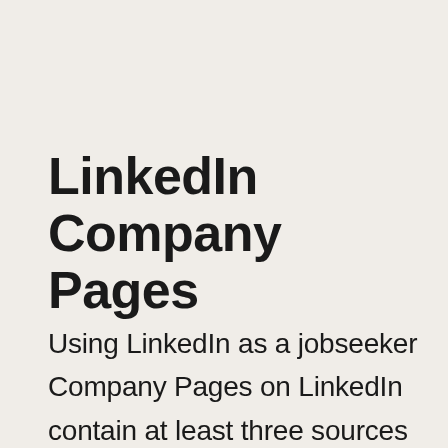LinkedIn Company Pages
Using LinkedIn as a jobseeker Company Pages on LinkedIn contain at least three sources of information that are invaluable to the jobseeker and not easily found